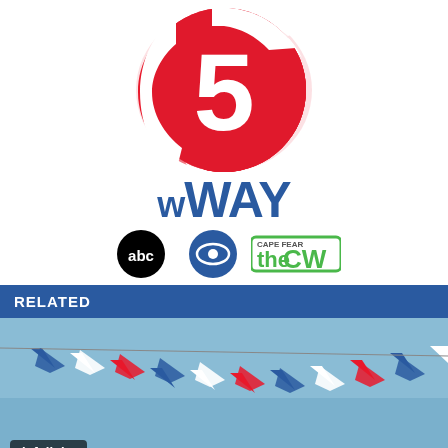[Figure (logo): WWAY TV5 Cape Fear logo — red stylized '5' channel icon above 'WWAY' text in blue, with ABC, CBS, and CW Cape Fear network sub-logos]
RELATED
[Figure (photo): Outdoor photo of red, white, and blue bunting/pennant flags strung across a bright blue sky, with a round metal structure visible below]
infolinks
Online Home Store for Furniture
Shop Wayfair for A Zillion Things Home across all styles
www.wayfair.com